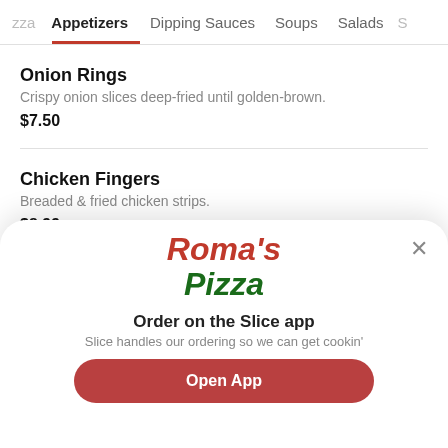zza   Appetizers   Dipping Sauces   Soups   Salads   S
Onion Rings
Crispy onion slices deep-fried until golden-brown.
$7.50
Chicken Fingers
Breaded & fried chicken strips.
$8.99
[Figure (logo): Roma's Pizza logo with 'Roma's' in red italic bold and 'Pizza' in green italic bold]
Order on the Slice app
Slice handles our ordering so we can get cookin'
Open App